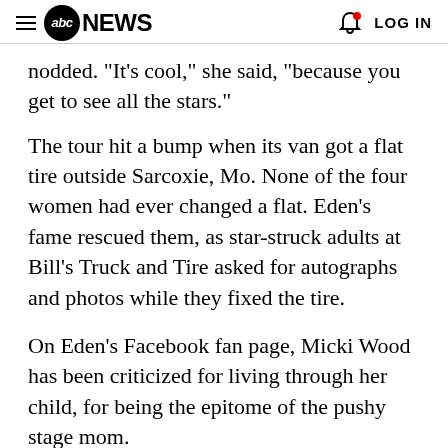abc NEWS  LOG IN
nodded. "It's cool," she said, "because you get to see all the stars."
The tour hit a bump when its van got a flat tire outside Sarcoxie, Mo. None of the four women had ever changed a flat. Eden's fame rescued them, as star-struck adults at Bill's Truck and Tire asked for autographs and photos while they fixed the tire.
On Eden's Facebook fan page, Micki Wood has been criticized for living through her child, for being the epitome of the pushy stage mom.
"Pushy, no. Dedicated, yes," she said.